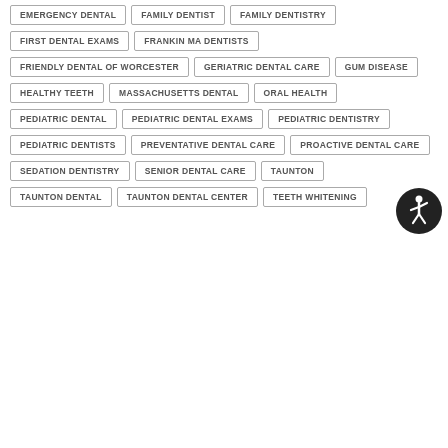EMERGENCY DENTAL
FAMILY DENTIST
FAMILY DENTISTRY
FIRST DENTAL EXAMS
FRANKIN MA DENTISTS
FRIENDLY DENTAL OF WORCESTER
GERIATRIC DENTAL CARE
GUM DISEASE
HEALTHY TEETH
MASSACHUSETTS DENTAL
ORAL HEALTH
PEDIATRIC DENTAL
PEDIATRIC DENTAL EXAMS
PEDIATRIC DENTISTRY
PEDIATRIC DENTISTS
PREVENTATIVE DENTAL CARE
PROACTIVE DENTAL CARE
SEDATION DENTISTRY
SENIOR DENTAL CARE
TAUNTON
TAUNTON DENTAL
TAUNTON DENTAL CENTER
TEETH WHITENING
[Figure (illustration): Accessibility button icon — circular dark button with white figure in wheelchair/accessibility pose]